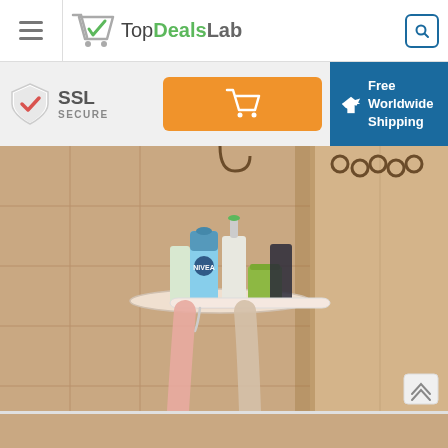TopDealsLab — navigation header with hamburger menu, logo, and search button
[Figure (infographic): SSL Secure badge, orange shopping cart button, and blue Free Worldwide Shipping banner]
[Figure (photo): Bathroom corner shower shelf mounted on beige tiles, holding Nivea and other toiletry bottles, green cup, with pink and beige towels hanging below. Metal hooks visible at top.]
[Figure (photo): Partial bottom image visible — beige/brown tile background]